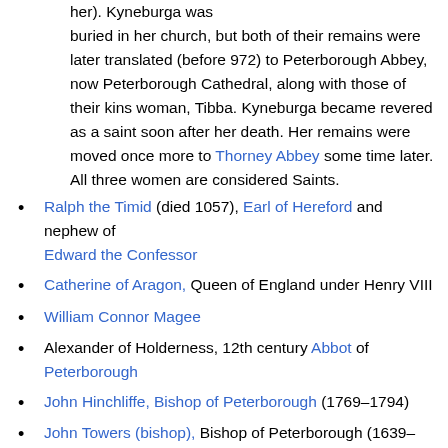her). Kyneburga was buried in her church, but both of their remains were later translated (before 972) to Peterborough Abbey, now Peterborough Cathedral, along with those of their kins woman, Tibba. Kyneburga became revered as a saint soon after her death. Her remains were moved once more to Thorney Abbey some time later. All three women are considered Saints.
Ralph the Timid (died 1057), Earl of Hereford and nephew of Edward the Confessor
Catherine of Aragon, Queen of England under Henry VIII
William Connor Magee
Alexander of Holderness, 12th century Abbot of Peterborough
John Hinchliffe, Bishop of Peterborough (1769–1794)
John Towers (bishop), Bishop of Peterborough (1639–1649)
Francis Dee (bishop), Bishop of Peterborough (1634–1638)
Richard Howland, Bishop of Peterborough (1584–1600)
John Chambers (bishop), first Bishop of Peterborough (1541–1556)
Ælfric Puttoc, medieval Archbishop of York and Bishop of Worcester